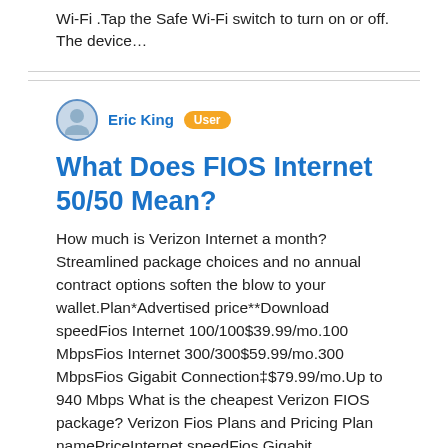Wi-Fi .Tap the Safe Wi-Fi switch to turn on or off. The device…
Eric King  User
What Does FIOS Internet 50/50 Mean?
How much is Verizon Internet a month? Streamlined package choices and no annual contract options soften the blow to your wallet.Plan*Advertised price**Download speedFios Internet 100/100$39.99/mo.100 MbpsFios Internet 300/300$59.99/mo.300 MbpsFios Gigabit Connection‡$79.99/mo.Up to 940 Mbps What is the cheapest Verizon FIOS package? Verizon Fios Plans and Pricing Plan namePriceInternet speedFios Gigabit Connection, Custom TV & Home